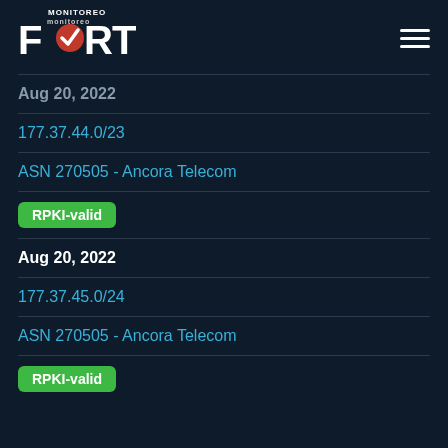[Figure (logo): FORT Monitoreo logo with white bold text and red checkmark icon, hamburger menu icon on right]
Aug 20, 2022
177.37.44.0/23
ASN 270505 - Ancora Telecom
RPKI-valid
Aug 20, 2022
177.37.45.0/24
ASN 270505 - Ancora Telecom
RPKI-valid